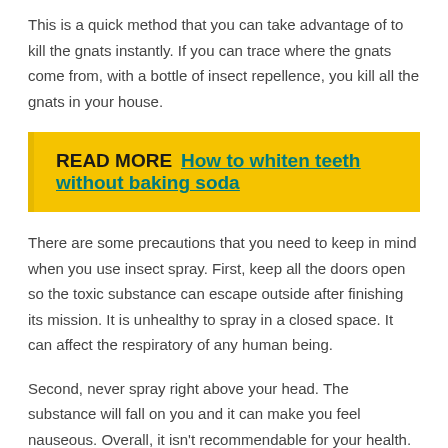This is a quick method that you can take advantage of to kill the gnats instantly. If you can trace where the gnats come from, with a bottle of insect repellence, you kill all the gnats in your house.
READ MORE  How to whiten teeth without baking soda
There are some precautions that you need to keep in mind when you use insect spray. First, keep all the doors open so the toxic substance can escape outside after finishing its mission. It is unhealthy to spray in a closed space. It can affect the respiratory of any human being.
Second, never spray right above your head. The substance will fall on you and it can make you feel nauseous. Overall, it isn't recommendable for your health. Wear a mask to prevent any unwanted reaction.